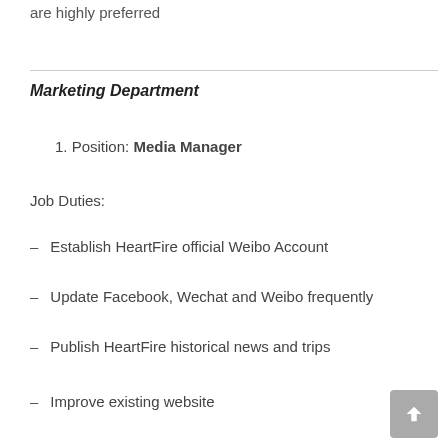are highly preferred
Marketing Department
1. Position: Media Manager
Job Duties:
– Establish HeartFire official Weibo Account
– Update Facebook, Wechat and Weibo frequently
– Publish HeartFire historical news and trips
– Improve existing website